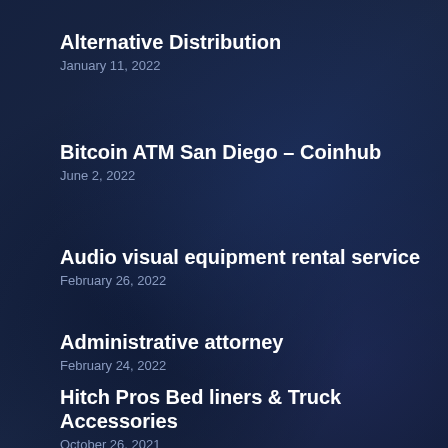Alternative Distribution
January 11, 2022
Bitcoin ATM San Diego – Coinhub
June 2, 2022
Audio visual equipment rental service
February 26, 2022
Administrative attorney
February 24, 2022
Hitch Pros Bed liners & Truck Accessories
October 26, 2021